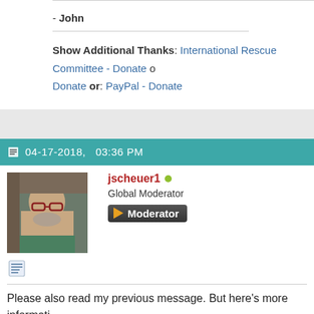- John
Show Additional Thanks: International Rescue Committee - Donate or: Donate or: PayPal - Donate
04-17-2018,   03:36 PM
jscheuer1
Global Moderator
[Figure (photo): Avatar photo of jscheuer1, a bald man with glasses and a beard wearing a green shirt]
[Figure (illustration): Moderator badge with play button arrow icon]
Please also read my previous message. But here's more informati... be relative to the page that the script is functioning on and it must... server. It cannot be an absolute or a network path. So if your imag...